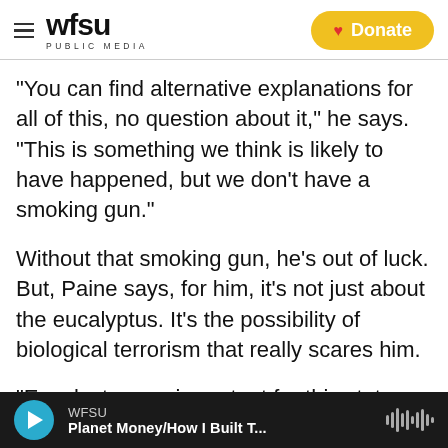WFSU PUBLIC MEDIA | Donate
"You can find alternative explanations for all of this, no question about it," he says. "This is something we think is likely to have happened, but we don't have a smoking gun."
Without that smoking gun, he's out of luck. But, Paine says, for him, it's not just about the eucalyptus. It's the possibility of biological terrorism that really scares him.
"Eucalyptus are important for this state, but they're not life or death," he says. "But if you're talking about a major food crop, or a disease organism, the
WFSU | Planet Money/How I Built T...